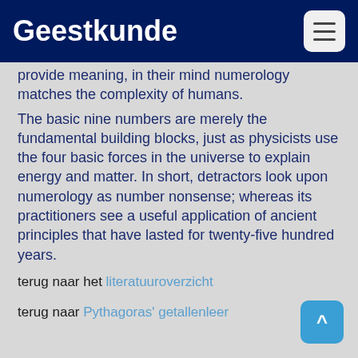Geestkunde
provide meaning, in their mind numerology matches the complexity of humans.
The basic nine numbers are merely the fundamental building blocks, just as physicists use the four basic forces in the universe to explain energy and matter. In short, detractors look upon numerology as number nonsense; whereas its practitioners see a useful application of ancient principles that have lasted for twenty-five hundred years.
terug naar het literatuuroverzicht
terug naar Pythagoras' getallenleer